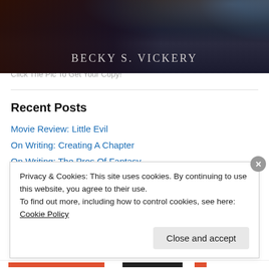[Figure (photo): Dark book cover image with snowflake textures, showing author name 'Becky S. Vickery' in serif small-caps white text at the bottom]
Click The Pic To Get Your Copy!
Recent Posts
Movie Review: Little Evil
On Writing: Creating A Chapter
On Writing: The Pros Of Fantasy
Privacy & Cookies: This site uses cookies. By continuing to use this website, you agree to their use.
To find out more, including how to control cookies, see here: Cookie Policy
Close and accept